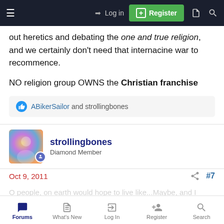Log in  Register
out heretics and debating the one and true religion, and we certainly don't need that internacine war to recommence.
NO religion group OWNS the Christian franchise
ABikerSailor and strollingbones
strollingbones
Diamond Member
Oct 9, 2011  #7
O people, on earth would hope...
Forums  What's New  Log In  Register  Search